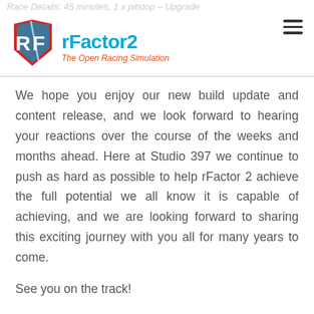Race Details: 45 minutes, 1 x pitstop – Upgrade
[Figure (logo): rFactor2 logo with RF shield emblem and tagline 'The Open Racing Simulation']
We hope you enjoy our new build update and content release, and we look forward to hearing your reactions over the course of the weeks and months ahead. Here at Studio 397 we continue to push as hard as possible to help rFactor 2 achieve the full potential we all know it is capable of achieving, and we are looking forward to sharing this exciting journey with you all for many years to come.
See you on the track!
May 2022 Q2 Content Drop – Available now in rFactor 2.